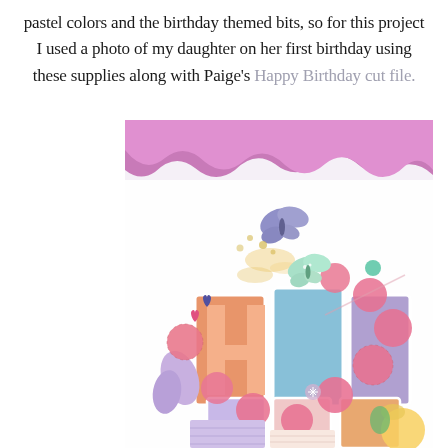pastel colors and the birthday themed bits, so for this project I used a photo of my daughter on her first birthday using these supplies along with Paige's Happy Birthday cut file.
[Figure (photo): Close-up photo of a colorful birthday-themed scrapbook layout featuring large pastel letters spelling 'HAPPY BIRTHDAY' with pink circle embellishments, butterfly die-cuts, small hearts, and floral decorations on a white background with torn purple/pink paper at the top.]